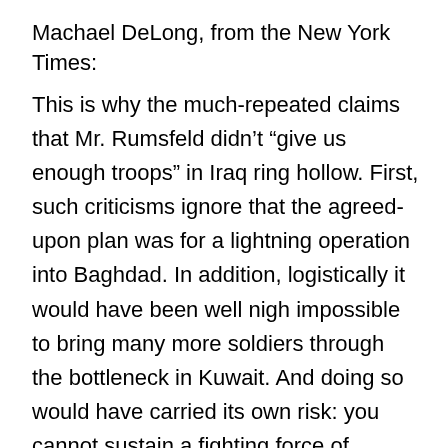Machael DeLong, from the New York Times:
This is why the much-repeated claims that Mr. Rumsfeld didn’t “give us enough troops” in Iraq ring hollow. First, such criticisms ignore that the agreed-upon plan was for a lightning operation into Baghdad. In addition, logistically it would have been well nigh impossible to bring many more soldiers through the bottleneck in Kuwait. And doing so would have carried its own risk: you cannot sustain a fighting force of 300,000 or 500,000 men for long, and it would have left us with few